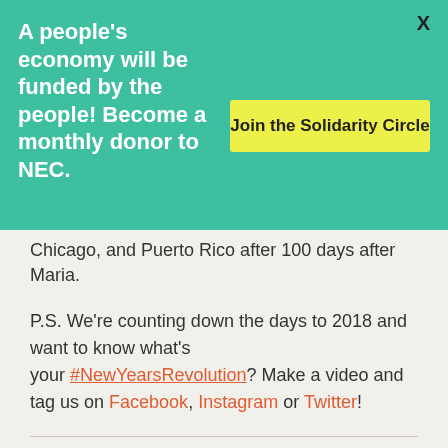A people's economy will be funded by the people! Become a monthly donor to NEC.
Join the Solidarity Circle
X
Chicago, and Puerto Rico after 100 days after Maria.
P.S. We're counting down the days to 2018 and want to know what's your #NewYearsRevolution? Make a video and tag us on Facebook, Instagram or Twitter!
In the Field